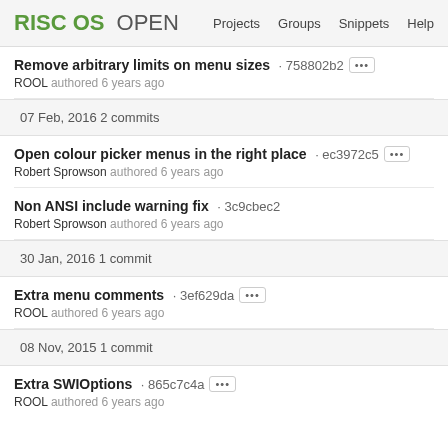RISC OS OPEN | Projects | Groups | Snippets | Help
Remove arbitrary limits on menu sizes · 758802b2
ROOL authored 6 years ago
07 Feb, 2016 2 commits
Open colour picker menus in the right place · ec3972c5
Robert Sprowson authored 6 years ago
Non ANSI include warning fix · 3c9cbec2
Robert Sprowson authored 6 years ago
30 Jan, 2016 1 commit
Extra menu comments · 3ef629da
ROOL authored 6 years ago
08 Nov, 2015 1 commit
Extra SWIOptions · 865c7c4a
ROOL authored 6 years ago